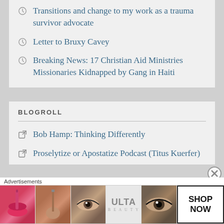Transitions and change to my work as a trauma survivor advocate
Letter to Bruxy Cavey
Breaking News: 17 Christian Aid Ministries Missionaries Kidnapped by Gang in Haiti
BLOGROLL
Bob Hamp: Thinking Differently
Proselytize or Apostatize Podcast (Titus Kuerfer)
[Figure (advertisement): Ulta Beauty advertisement banner with makeup imagery and SHOP NOW button]
Advertisements